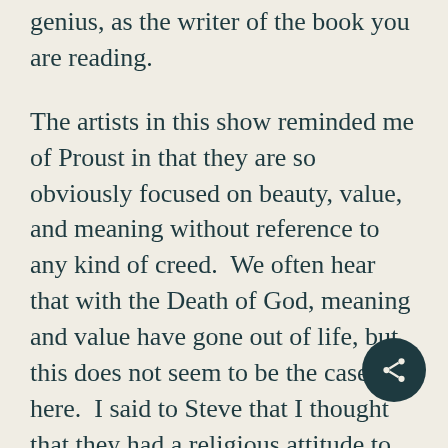genius, as the writer of the book you are reading.
The artists in this show reminded me of Proust in that they are so obviously focused on beauty, value, and meaning without reference to any kind of creed.  We often hear that with the Death of God, meaning and value have gone out of life, but this does not seem to be the case here.  I said to Steve that I thought that they had a religious attitude to life that I would empathize with as a Quaker.  He replied that they were secular humanists with a sense of the